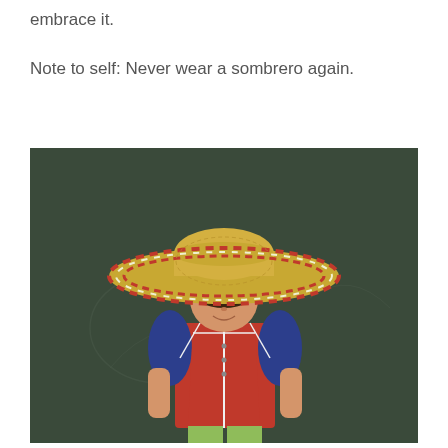embrace it.

Note to self: Never wear a sombrero again.
[Figure (photo): A young child wearing a large woven sombrero hat with red and white trim, dressed in a red and navy blue baseball jersey, standing in front of a dark chalkboard background.]